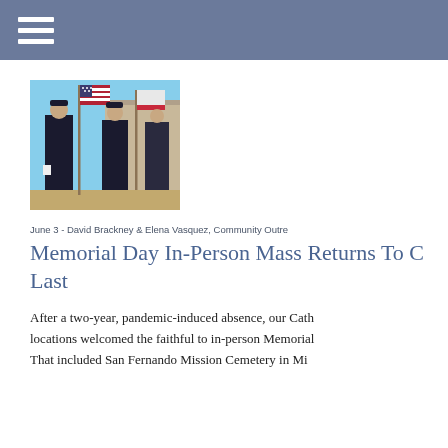[Figure (photo): Police officers in dress uniform standing at attention holding flags including an American flag and other flags, outdoors near a building]
June 3 - David Brackney & Elena Vasquez, Community Outre
Memorial Day In-Person Mass Returns To C... Last
After a two-year, pandemic-induced absence, our Cath... locations welcomed the faithful to in-person Memorial... That included San Fernando Mission Cemetery in Mi...